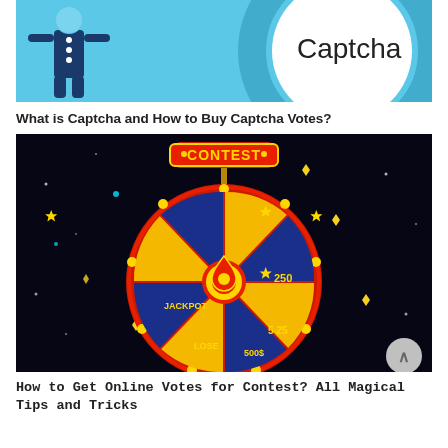[Figure (illustration): Top portion of a Captcha illustration showing a cartoon figure on the left side against a light blue background, and the word 'Captcha' in large text with concentric circles on the right.]
What is Captcha and How to Buy Captcha Votes?
[Figure (illustration): A colorful spinning wheel contest graphic on a dark/black background with stars. The wheel shows sections labeled JACKPOT, LOSE, 50, 250, 5, 25. A red location pin pointer is at the center. At the top is a banner reading 'CONTEST' in red and yellow.]
How to Get Online Votes for Contest? All Magical Tips and Tricks